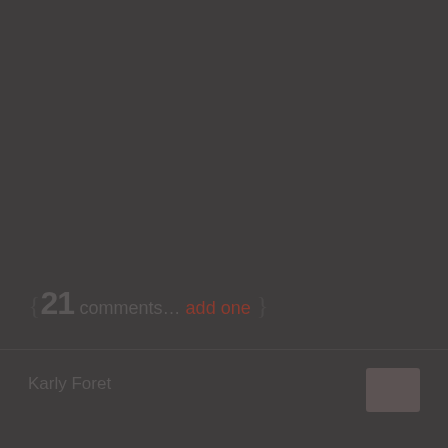{ 21 comments... add one }
Karly Foret